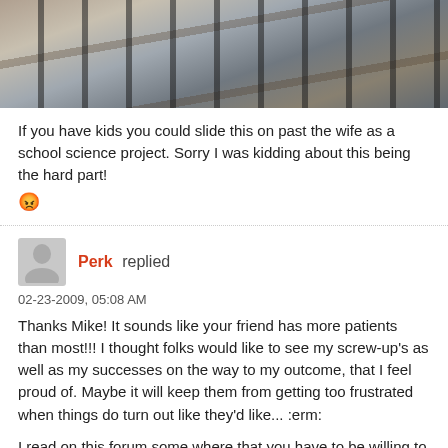[Figure (photo): Top portion of a photo showing what appears to be metal rails or tracks, partially cropped]
If you have kids you could slide this on past the wife as a school science project. Sorry I was kidding about this being the hard part! 😡
Perk replied
02-23-2009, 05:08 AM
Thanks Mike! It sounds like your friend has more patients than most!!! I thought folks would like to see my screw-up's as well as my successes on the way to my outcome, that I feel proud of. Maybe it will keep them from getting too frustrated when things do turn out like they'd like... :erm:

I read on this forum some where that you have to be willing to experiment and fail to get things the way you want them. And that is exactly how I muttled through my first building.

:erm:
Mike_Hamer replied